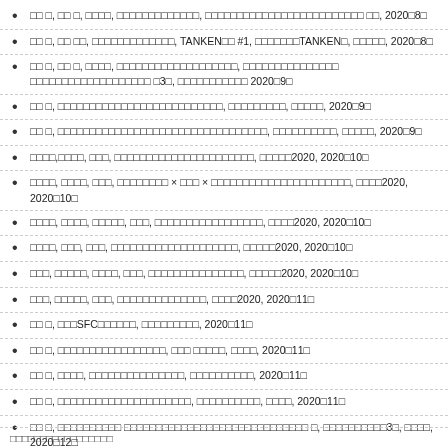□□ □, □□ □, □□□□, □□□□□□□□□□□□□, □□□□□□□□□□□□□□□□□□□□□□□□□ □□, 2020□8□
□□ □, □□ □□, □□□□□□□□□□□□□, TANKEN□□ #1, □□□□□□□TANKEN□, □□□□□, 2020□8□
□□ □, □□ □, □□□□, □□□□□□□□□□□□□□□□□□□, □□□□□□□□□□□□□□□ □□□□□□□□□□□□□□□□□□□ □3□, □□□□□□□□□□□ 2020□9□
□□ □, □□□□□□□□□□□□□□□□□□□□□□□□□□, □□□□□□□□□, □□□□□, 2020□9□
□□ □, □□□□□□□□□□□□□□□□□□□□□□□□□□□□□□□□□, □□□□□□□□□□, □□□□□, 2020□9□
□□□□,□□□□, □□□, □□□□□□□□□□□□□□□□□□□□□□, □□□□□2020, 2020□10□
□□□□, □□□□, □□□, □□□□□□□□ × □□□ × □□□□□□□□□□□□□□□□□□□□□□, □□□□2020, 2020□10□
□□□□, □□□□, □□□□□, □□□, □□□□□□□□□□□□□□□□□, □□□□2020, 2020□10□
□□□□, □□□, □□□, □□□□□□□□□□□□□□□□□□□□, □□□□□2020, 2020□10□
□□□, □□□□□, □□□□, □□□, □□□□□□□□□□□□□□□, □□□□□2020, 2020□10□
□□□, □□□□□, □□□, □□□□□□□□□□□□□□, □□□□2020, 2020□11□
□□ □, □□□SFC□□□□□□, □□□□□□□□□, 2020□11□
□□ □, □□□□□□□□□□□□□□□□□, □□□ □□□□□, □□□□, 2020□11□
□□ □, □□□□, □□□□□□□□□□□□□□□, □□□□□□□□□□, 2020□11□
□□ □, □□□□□□□□□□□□□□□□□□□□□, □□□□□□□□□□, □□□□, 2020□11□
□□ □, □□□□□□□□□□ □□□□□□□□□□□□□□□□□□□□□□□□□□□□□ □, □□□□□□□□□□3□, □□□□, 2020□12□
□□ □, □Life□□□□□□□□□□□□□□□□□□□□, □□□□□□□□□□, □□□□, 2020□12□
□□□□□□□□□□□□□□□□□